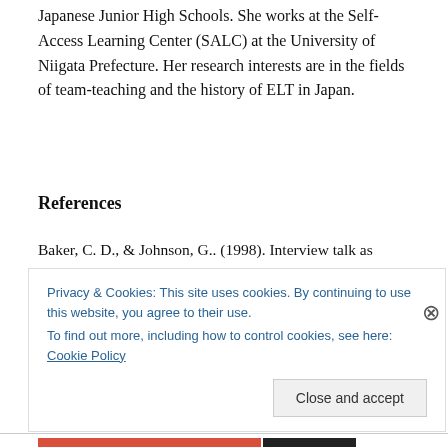Japanese Junior High Schools. She works at the Self-Access Learning Center (SALC) at the University of Niigata Prefecture. Her research interests are in the fields of team-teaching and the history of ELT in Japan.
References
Baker, C. D., & Johnson, G.. (1998). Interview talk as professional practice. Language and Education, 12(4),
Privacy & Cookies: This site uses cookies. By continuing to use this website, you agree to their use.
To find out more, including how to control cookies, see here: Cookie Policy